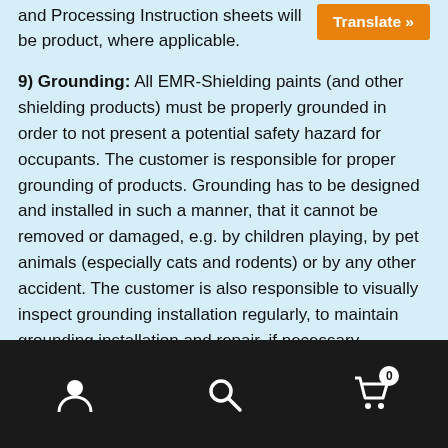and Processing Instruction sheets will be product, where applicable.
Translate »
9) Grounding: All EMR-Shielding paints (and other shielding products) must be properly grounded in order to not present a potential safety hazard for occupants. The customer is responsible for proper grounding of products. Grounding has to be designed and installed in such a manner, that it cannot be removed or damaged, e.g. by children playing, by pet animals (especially cats and rodents) or by any other accident. The customer is also responsible to visually inspect grounding installation regularly, to maintain grounding installation and repair, if necessary. Depending on local regulations in some countries grounding may require a licensed electrician. The customer is responsible to follow all
Navigation footer with account, search, and cart icons